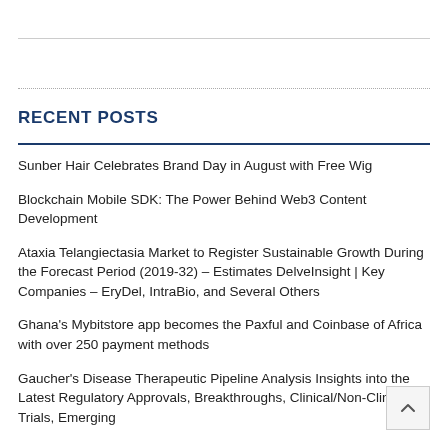RECENT POSTS
Sunber Hair Celebrates Brand Day in August with Free Wig
Blockchain Mobile SDK: The Power Behind Web3 Content Development
Ataxia Telangiectasia Market to Register Sustainable Growth During the Forecast Period (2019-32) – Estimates DelveInsight | Key Companies – EryDel, IntraBio, and Several Others
Ghana's Mybitstore app becomes the Paxful and Coinbase of Africa with over 250 payment methods
Gaucher's Disease Therapeutic Pipeline Analysis Insights into the Latest Regulatory Approvals, Breakthroughs, Clinical/Non-Clinical Trials, Emerging